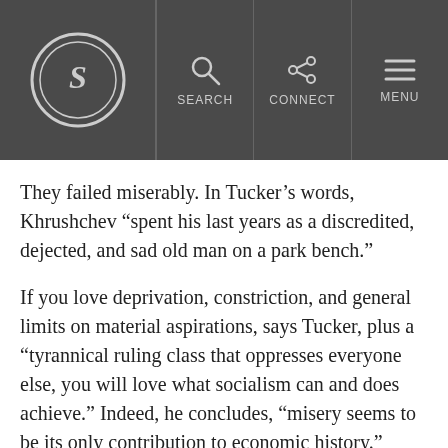S | SEARCH | CONNECT | MENU
They failed miserably. In Tucker’s words, Khrushchev “spent his last years as a discredited, dejected, and sad old man on a park bench.”
If you love deprivation, constriction, and general limits on material aspirations, says Tucker, plus a “tyrannical ruling class that oppresses everyone else, you will love what socialism can and does achieve.” Indeed, he concludes, “misery seems to be its only contribution to economic history.”
Socialists, says National Review correspondent Kevin Williamson, are guilty of a fatal conceit: They think they can develop a system so powerful that it can consider every variable in society and propose…